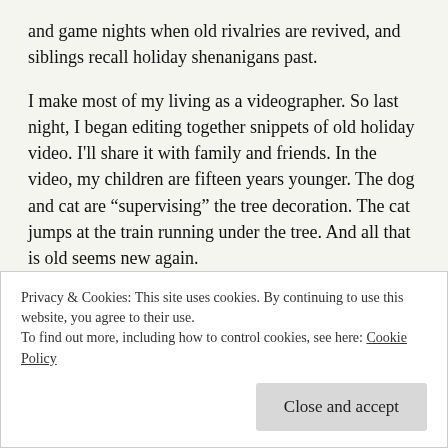and game nights when old rivalries are revived, and siblings recall holiday shenanigans past.
I make most of my living as a videographer. So last night, I began editing together snippets of old holiday video. I'll share it with family and friends. In the video, my children are fifteen years younger. The dog and cat are “supervising” the tree decoration. The cat jumps at the train running under the tree. And all that is old seems new again.
As bad as the current situation seems, it will pass. A
Privacy & Cookies: This site uses cookies. By continuing to use this website, you agree to their use.
To find out more, including how to control cookies, see here: Cookie Policy